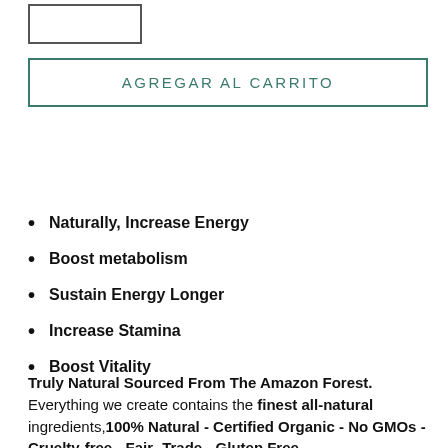[Figure (other): Small rectangular empty/input box outline]
AGREGAR AL CARRITO
Naturally, Increase Energy
Boost metabolism
Sustain Energy Longer
Increase Stamina
Boost Vitality
Truly Natural Sourced From The Amazon Forest. Everything we create contains the finest all-natural ingredients,100% Natural - Certified Organic - No GMOs - Cruelty-free - Fair -Trade - Gluten Free -